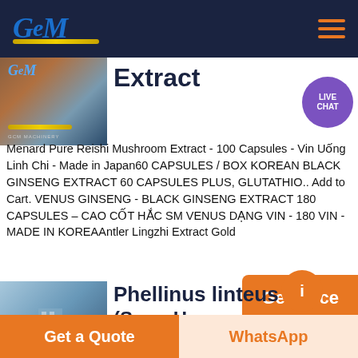[Figure (screenshot): GCM company logo on dark navy header background with hamburger menu icon]
[Figure (screenshot): Product image showing GCM Machinery branding with LIVE CHAT bubble icon overlay]
Extract
Menard Pure Reishi Mushroom Extract - 100 Capsules - Vin Uống Linh Chi - Made in Japan60 CAPSULES / BOX KOREAN BLACK GINSENG EXTRACT 60 CAPSULES PLUS, GLUTATHIO.. Add to Cart. VENUS GINSENG - BLACK GINSENG EXTRACT 180 CAPSULES – CAO CỐT HẮC SM VENUS DẠNG VIN - 180 VIN - MADE IN KOREAAntler Lingzhi Extract Gold
[Figure (screenshot): Product image showing gear/machinery and building with Phellinus linteus product title]
Phellinus linteus (Song Hwang